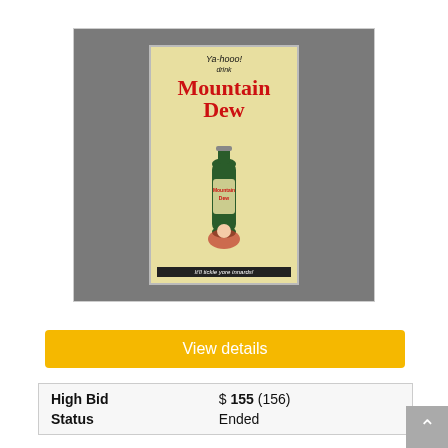[Figure (photo): Vintage Mountain Dew advertising sign on wood. Shows 'Ya-hooo! drink Mountain Dew' text in red with a green bottle illustration. Bottom text reads 'It'll tickle yore innards!']
View details
| High Bid | $ 155 (156) |
| Status | Ended |